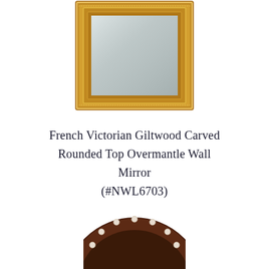[Figure (photo): A rectangular ornate gold giltwood carved mirror with rounded top frame, French Victorian style, partially cropped at top of page]
French Victorian Giltwood Carved Rounded Top Overmantle Wall Mirror (#NWL6703)
[Figure (photo): A circular dark wood decorative mirror or frame with pearl/white dot inlays, partially visible at bottom of page]